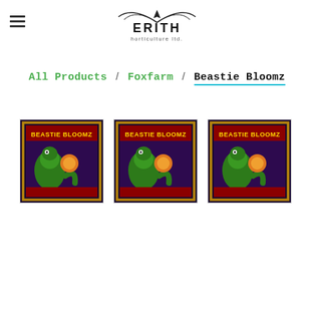Erith Horticulture Ltd. logo with hamburger menu
All Products / Foxfarm / Beastie Bloomz
[Figure (photo): Three Beastie Bloomz product images shown as thumbnails — each showing a green dinosaur-like creature on a dark purple background with the product name 'Beastie Bloomz' in stylized text.]